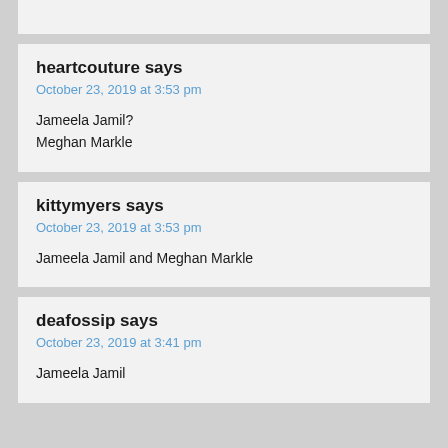heartcouture says
October 23, 2019 at 3:53 pm
Jameela Jamil?
Meghan Markle
kittymyers says
October 23, 2019 at 3:53 pm
Jameela Jamil and Meghan Markle
deafossip says
October 23, 2019 at 3:41 pm
Jameela Jamil